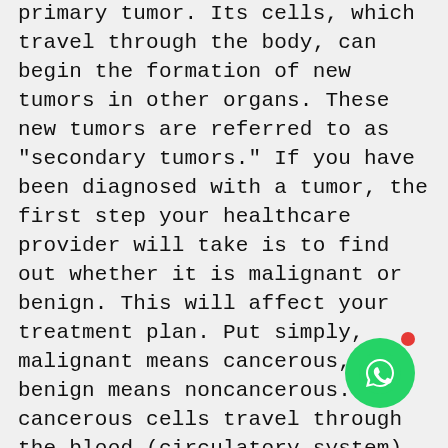primary tumor. Its cells, which travel through the body, can begin the formation of new tumors in other organs. These new tumors are referred to as "secondary tumors." If you have been diagnosed with a tumor, the first step your healthcare provider will take is to find out whether it is malignant or benign. This will affect your treatment plan. Put simply, malignant means cancerous, and benign means noncancerous. The cancerous cells travel through the blood (circulatory system) or lymphatic system to form secondary tumors. The lymphatic system is a series of small vessels that collect waste from cells, carrying it into larger vessels, and finally into lymph nodes. Lymph fluid eventually drains into the bloodstream. Tumors can be benign (noncancerous) or malignant (cancerous). Benign tumors tend to grow slowly and do not spread. Malignant tumors can grow rapidly, invade and destroy nearby normal tissues, and spread
[Figure (illustration): WhatsApp floating action button with green circle icon and red notification dot]